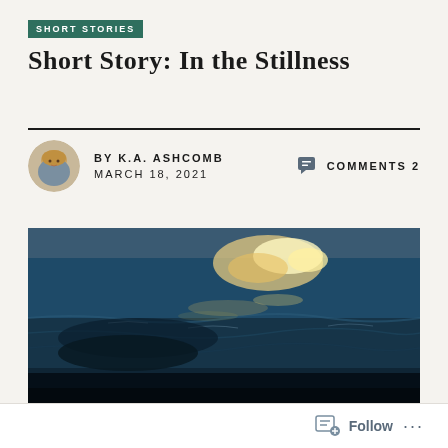SHORT STORIES
Short Story: In the Stillness
BY K.A. ASHCOMB   MARCH 18, 2021
COMMENTS 2
[Figure (photo): Close-up photo of dark ocean water with golden light reflections on rippling surface]
Follow ...